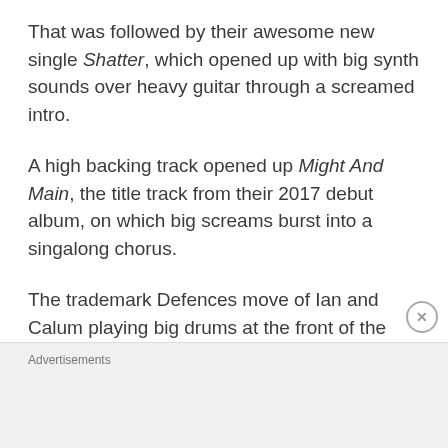That was followed by their awesome new single Shatter, which opened up with big synth sounds over heavy guitar through a screamed intro.
A high backing track opened up Might And Main, the title track from their 2017 debut album, on which big screams burst into a singalong chorus.
The trademark Defences move of Ian and Calum playing big drums at the front of the stage was again a highlight and the
Advertisements